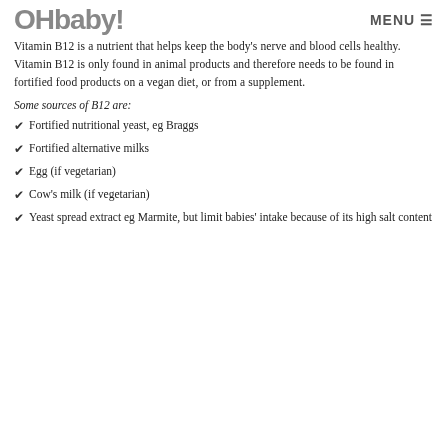OHbaby! MENU
Vitamin B12 is a nutrient that helps keep the body's nerve and blood cells healthy. Vitamin B12 is only found in animal products and therefore needs to be found in fortified food products on a vegan diet, or from a supplement.
Some sources of B12 are:
Fortified nutritional yeast, eg Braggs
Fortified alternative milks
Egg (if vegetarian)
Cow's milk (if vegetarian)
Yeast spread extract eg Marmite, but limit babies' intake because of its high salt content